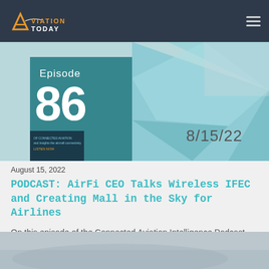Aviation Today
[Figure (photo): Podcast episode graphic showing Episode 86, dated 8/15/22, with teal geometric background and thumbnail of connected aviation intelligence podcast]
August 15, 2022
PODCAST: AirFi CEO Talks Wireless IFEC and Creating Mall in the Sky for Airlines
On this episode of the Connected Aviation Intelligence Podcast, Job Heimerikx, CEO and co-founder of...
[Figure (photo): Bottom partial image, appears to be a blurred aerial or sky photograph]